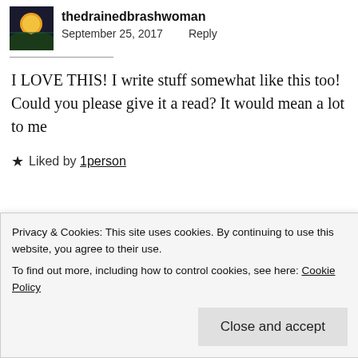thedrainedbrashwoman
September 25, 2017   Reply
I LOVE THIS! I write stuff somewhat like this too! Could you please give it a read? It would mean a lot to me
★ Liked by 1person
Privacy & Cookies: This site uses cookies. By continuing to use this website, you agree to their use.
To find out more, including how to control cookies, see here: Cookie Policy
Close and accept